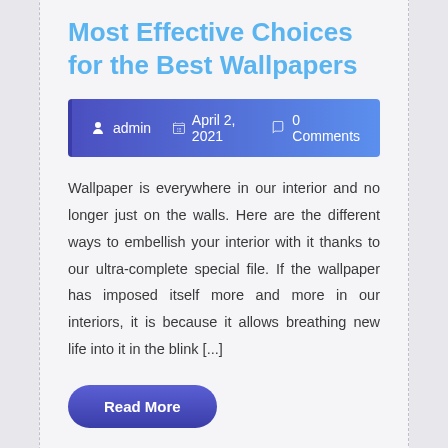Most Effective Choices for the Best Wallpapers
admin   April 2, 2021   0 Comments
Wallpaper is everywhere in our interior and no longer just on the walls. Here are the different ways to embellish your interior with it thanks to our ultra-complete special file. If the wallpaper has imposed itself more and more in our interiors, it is because it allows breathing new life into it in the blink [...]
Read More